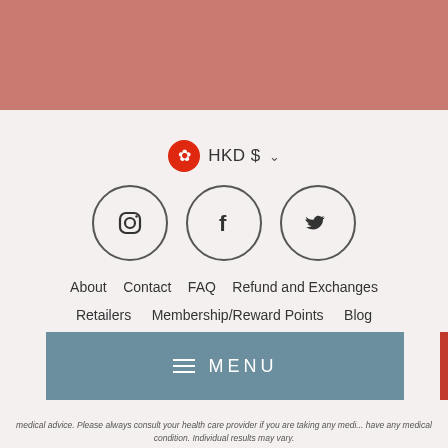[Figure (illustration): Dusty rose/salmon colored header bar across top of page]
[Figure (infographic): Currency selector showing Hong Kong flag icon and HKD $ with dropdown chevron]
[Figure (infographic): Three circular social media icons: Instagram, Facebook, Twitter]
About   Contact   FAQ   Refund and Exchanges
Retailers   Membership/Reward Points   Blog
Terms of Service   Refund policy
[Figure (infographic): Payment method icons partially visible: Apple Pay, Google Pay(?), Mastercard, PayPal, Visa]
[Figure (infographic): Menu bar with hamburger icon and MENU text on teal background]
medical advice. Please always consult your health care provider if you are taking any medi... have any medical condition. Individual results may vary.